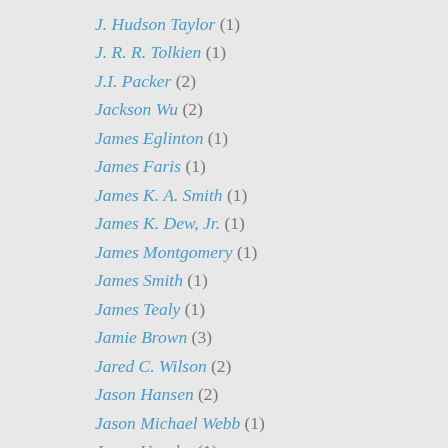J. Hudson Taylor (1)
J. R. R. Tolkien (1)
J.I. Packer (2)
Jackson Wu (2)
James Eglinton (1)
James Faris (1)
James K. A. Smith (1)
James K. Dew, Jr. (1)
James Montgomery (1)
James Smith (1)
James Tealy (1)
Jamie Brown (3)
Jared C. Wilson (2)
Jason Hansen (2)
Jason Michael Webb (1)
Jason Vaughn (1)
Jeannette Threlfall (1)
Jeff Lippencott (3)
Jeff Taylor (1)
Jefferson Bethke (5)